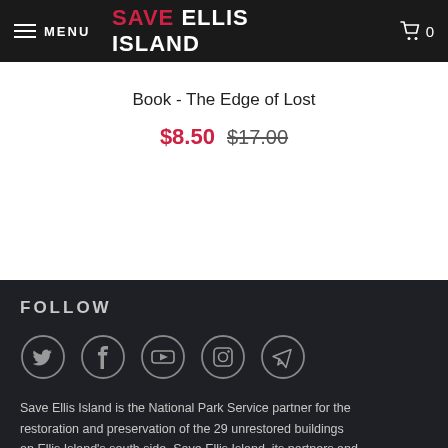MENU | SAVE ELLIS ISLAND | 0
Book - The Edge of Lost
$8.50 $17.00
FOLLOW
[Figure (other): Social media icons: Twitter, Facebook, YouTube, Instagram, Telegram]
Save Ellis Island is the National Park Service partner for the restoration and preservation of the 29 unrestored buildings on Ellis Island's south side. Save Ellis Island, its partners and members work together for the preservation of our nation's historical and cultural heritage for